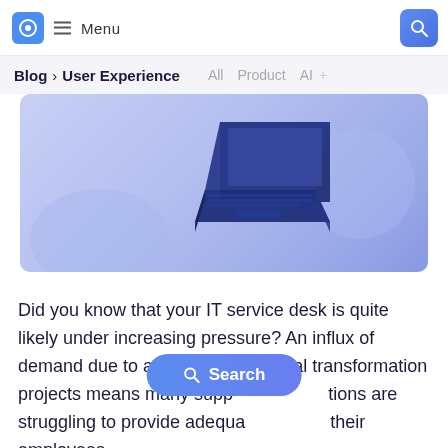Menu
Blog > User Experience   All   Product   AI
[Figure (illustration): Isometric illustration of a dark blue laptop on a purple/periwinkle gradient background]
Did you know that your IT service desk is quite likely under increasing pressure? An influx of demand due to an increase in digital transformation projects means many support organizations are struggling to provide adequate support to their employees.
Search